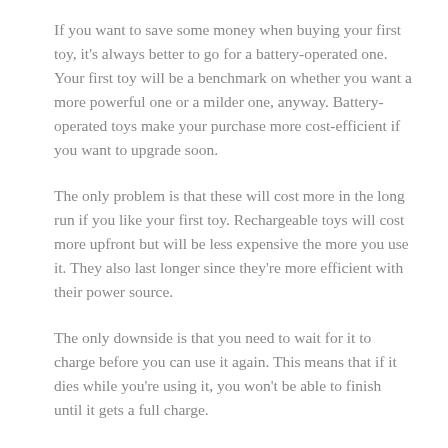If you want to save some money when buying your first toy, it's always better to go for a battery-operated one. Your first toy will be a benchmark on whether you want a more powerful one or a milder one, anyway. Battery-operated toys make your purchase more cost-efficient if you want to upgrade soon.
The only problem is that these will cost more in the long run if you like your first toy. Rechargeable toys will cost more upfront but will be less expensive the more you use it. They also last longer since they're more efficient with their power source.
The only downside is that you need to wait for it to charge before you can use it again. This means that if it dies while you're using it, you won't be able to finish until it gets a full charge.